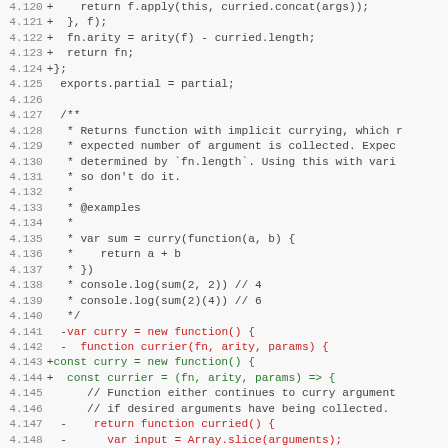[Figure (screenshot): Code diff showing JavaScript source code with line numbers 4.120 to 4.151, displaying additions (green) and removals (red) to a curry/partial function implementation.]